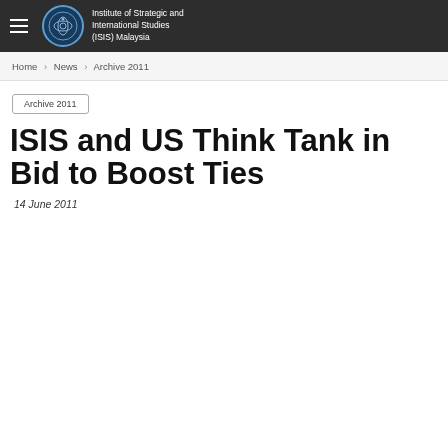Institute of Strategic and International Studies (ISIS) Malaysia
Home › News › Archive 2011
Archive 2011
ISIS and US Think Tank in Bid to Boost Ties
14 June 2011